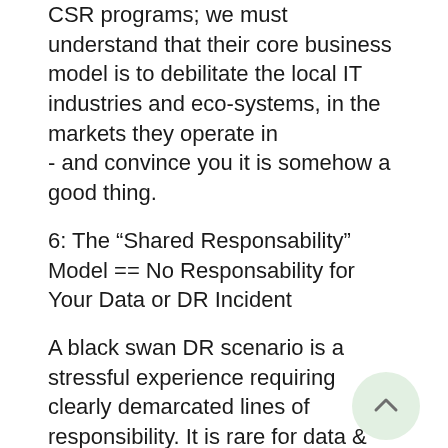CSR programs; we must understand that their core business model is to debilitate the local IT industries and eco-systems, in the markets they operate in - and convince you it is somehow a good thing.
6: The “Shared Responsability” Model == No Responsability for Your Data or DR Incident
A black swan DR scenario is a stressful experience requiring clearly demarcated lines of responsibility. It is rare for data & systems to be restored without at least some unforeseen issues. If you cannot recover your systems, eg when you finally download the data multiple times you find it is not clean enough